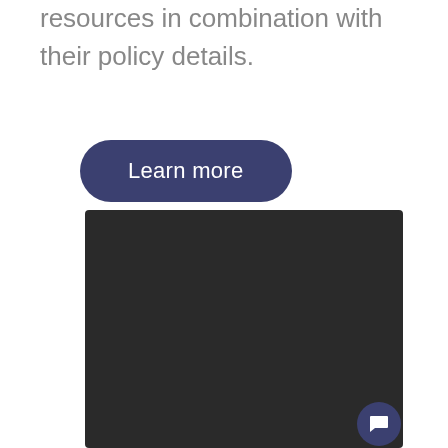resources in combination with their policy details.
Learn more
[Figure (screenshot): Dark application panel showing a dark background interface with a small rocket illustration icon in the bottom right area and a chat button below it.]